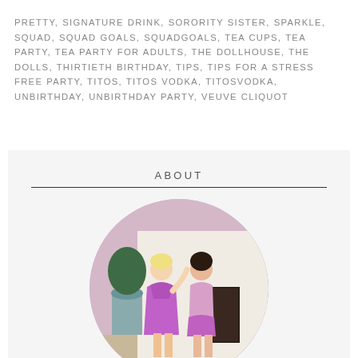PRETTY, SIGNATURE DRINK, SORORITY SISTER, SPARKLE, SQUAD, SQUAD GOALS, SQUADGOALS, TEA CUPS, TEA PARTY, TEA PARTY FOR ADULTS, THE DOLLHOUSE, THE DOLLS, THIRTIETH BIRTHDAY, TIPS, TIPS FOR A STRESS FREE PARTY, TITOS, TITOS VODKA, TITOSVODKA, UNBIRTHDAY, UNBIRTHDAY PARTY, VEUVE CLIQUOT
ABOUT
[Figure (photo): Two women wearing matching purple sequin outfits posing together in front of a building entrance with a potted tree in the background. Photo is displayed in a circular crop.]